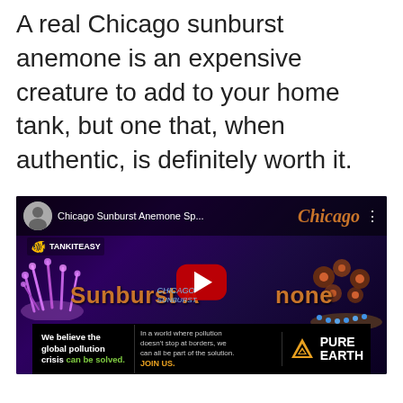A real Chicago sunburst anemone is an expensive creature to add to your home tank, but one that, when authentic, is definitely worth it.
[Figure (screenshot): YouTube video thumbnail for 'Chicago Sunburst Anemone Sp...' by TankItEasy channel, showing a man with blue-gloved hands, coral/anemone specimens under purple lighting, with large orange text 'Sunburst Anemone' and 'Spotlight', Chicago branding, and a red YouTube play button. Below is a Pure Earth ad banner.]